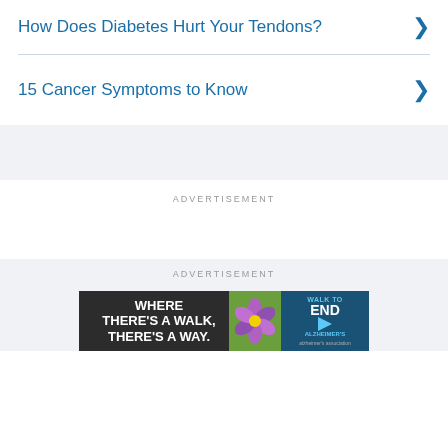How Does Diabetes Hurt Your Tendons?
15 Cancer Symptoms to Know
ADVERTISEMENT
ADVERTISEMENT
[Figure (photo): Walk to End Alzheimer's advertisement banner with purple flower and text: WHERE THERE'S A WALK, THERE'S A WAY. WALK TO END ALZHEIMER'S]